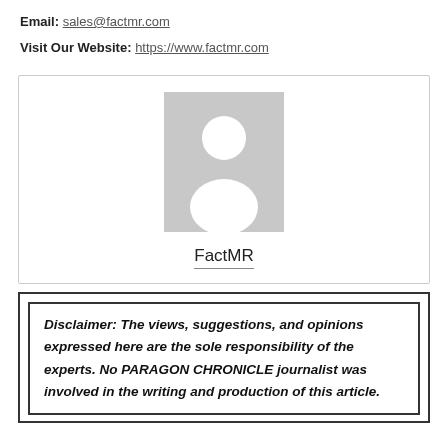Email: sales@factmr.com
Visit Our Website: https://www.factmr.com
[Figure (illustration): Profile card box with a grey placeholder avatar silhouette image and the name 'FactMR' below it with underline]
Disclaimer: The views, suggestions, and opinions expressed here are the sole responsibility of the experts. No PARAGON CHRONICLE journalist was involved in the writing and production of this article.